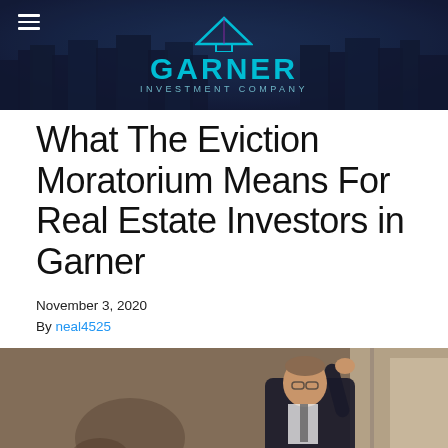[Figure (logo): Garner Investment Company logo with dark blue city skyline background, cyan GARNER text, and house/triangle icon above]
What The Eviction Moratorium Means For Real Estate Investors in Garner
November 3, 2020
By neal4525
[Figure (photo): A man in a dark suit leaning his head against a wall near a window, appearing stressed]